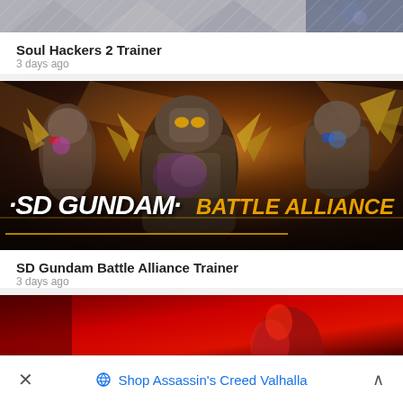[Figure (screenshot): Cropped top portion of a game trainer card image — partially visible, appears to show muted figures on gray background]
Soul Hackers 2 Trainer
3 days ago
[Figure (screenshot): SD Gundam Battle Alliance game banner image showing three large mecha robots on a dark brown rocky background, with the game logo at the bottom: SD GUNDAM BATTLE ALLIANCE]
SD Gundam Battle Alliance Trainer
3 days ago
[Figure (screenshot): Partially visible third game card image — red background with partial figure visible]
Shop Assassin's Creed Valhalla